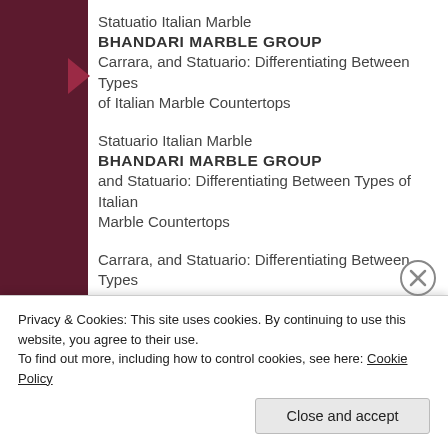Statuatio Italian Marble
BHANDARI MARBLE GROUP
Carrara, and Statuario: Differentiating Between Types of Italian Marble Countertops
Statuario Italian Marble
BHANDARI MARBLE GROUP
and Statuario: Differentiating Between Types of Italian Marble Countertops
Carrara, and Statuario: Differentiating Between Types of Italian Marble Countertops
Statuario Italian Marble
BHANDARI MARBLE GROUP
Privacy & Cookies: This site uses cookies. By continuing to use this website, you agree to their use.
To find out more, including how to control cookies, see here: Cookie Policy
Close and accept